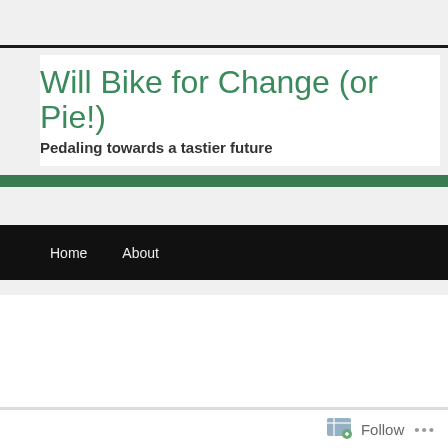Will Bike for Change (or Pie!)
Pedaling towards a tastier future
Home   About
Monthly Archives: April 2011
Ride Report: Stayin’ Alive at 65
Posted on April 28, 2011 by Shannon